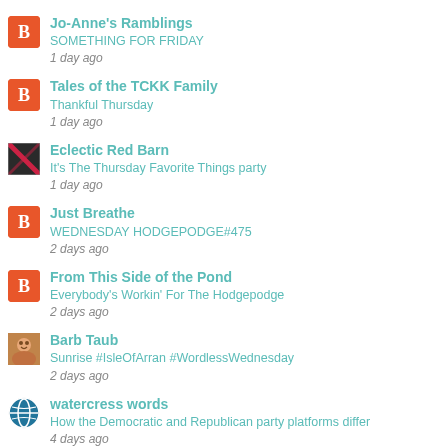Jo-Anne's Ramblings
SOMETHING FOR FRIDAY
1 day ago
Tales of the TCKK Family
Thankful Thursday
1 day ago
Eclectic Red Barn
It's The Thursday Favorite Things party
1 day ago
Just Breathe
WEDNESDAY HODGEPODGE#475
2 days ago
From This Side of the Pond
Everybody's Workin' For The Hodgepodge
2 days ago
Barb Taub
Sunrise #IsleOfArran #WordlessWednesday
2 days ago
watercress words
How the Democratic and Republican party platforms differ
4 days ago
a few clowns short
Notes passed to future